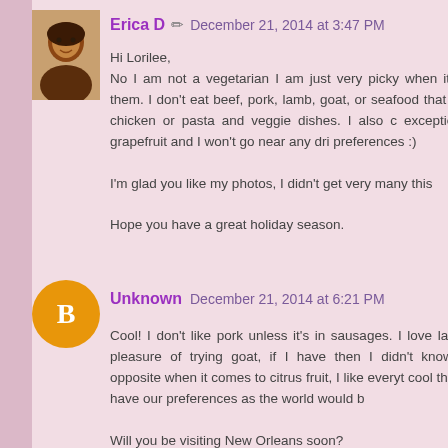Erica D  December 21, 2014 at 3:47 PM
Hi Lorilee,
No I am not a vegetarian I am just very picky when it c of them. I don't eat beef, pork, lamb, goat, or seafood that have chicken or pasta and veggie dishes. I also c exception of grapefruit and I won't go near any dri preferences :)

I'm glad you like my photos, I didn't get very many this

Hope you have a great holiday season.
Unknown  December 21, 2014 at 6:21 PM
Cool! I don't like pork unless it's in sausages. I love lan the pleasure of trying goat, if I have then I didn't know the opposite when it comes to citrus fruit, I like everyt cool that we have our preferences as the world would b

Will you be visiting New Orleans soon?

I really want to take a trip to New York, with it bein